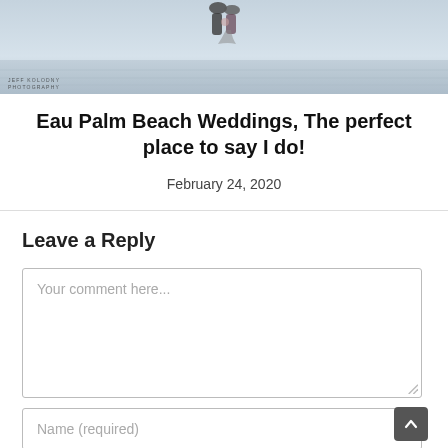[Figure (photo): Top portion of a wedding photo at Eau Palm Beach, showing a couple near water with a watermark reading 'JEFF KOLODNY PHOTOGRAPHY' in the bottom left corner.]
Eau Palm Beach Weddings, The perfect place to say I do!
February 24, 2020
Leave a Reply
Your comment here...
Name (required)